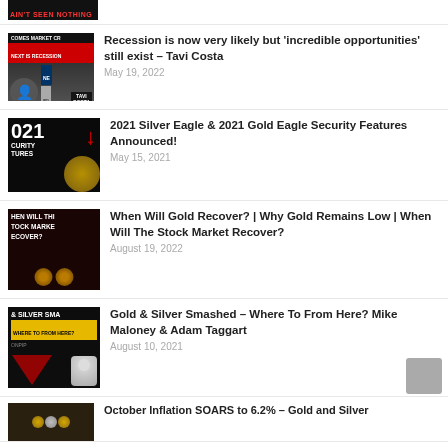[Figure (screenshot): Partial thumbnail of a video, dark background with red text, partially cut off at top]
[Figure (screenshot): Video thumbnail showing '2021 SECURITY FEATURES' with red arrow and gold coin on black background]
2021 Silver Eagle & 2021 Gold Eagle Security Features Announced!
May 15, 2021
[Figure (screenshot): Video thumbnail: 'WHEN WILL THE STOCK MARKET RECOVER?' with gold coins on dark red background]
When Will Gold Recover? | Why Gold Remains Low | When Will The Stock Market Recover?
August 19, 2022
[Figure (screenshot): Video thumbnail: '& SILVER SMASHED WHERE TO FROM HERE?' with chart and man in suit on dark background]
Gold & Silver Smashed – Where To From Here? Mike Maloney & Adam Taggart
August 10, 2021
[Figure (screenshot): Partial thumbnail of video about October Inflation and Gold and Silver, cut off at bottom]